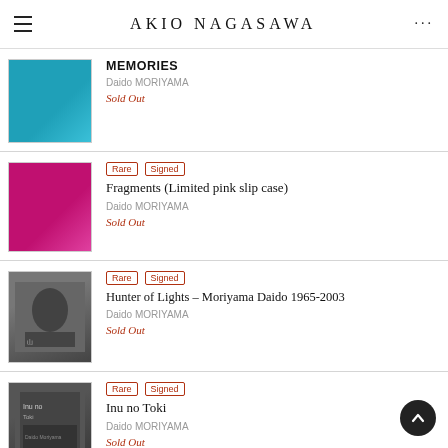AKIO NAGASAWA
MEMORIES | Daido MORIYAMA | Sold Out
Rare Signed | Fragments (Limited pink slip case) | Daido MORIYAMA | Sold Out
Rare Signed | Hunter of Lights – Moriyama Daido 1965-2003 | Daido MORIYAMA | Sold Out
Rare Signed | Inu no Toki | Daido MORIYAMA | Sold Out